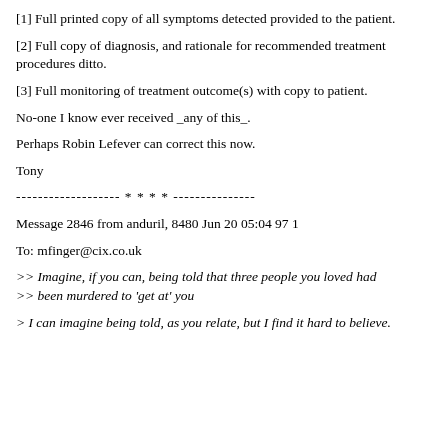[1] Full printed copy of all symptoms detected provided to the patient.
[2] Full copy of diagnosis, and rationale for recommended treatment
procedures ditto.
[3] Full monitoring of treatment outcome(s) with copy to patient.
No-one I know ever received _any of this_.
Perhaps Robin Lefever can correct this now.
Tony
------------------- * * * * ---------------
Message 2846 from anduril, 8480 Jun 20 05:04 97 1
To: mfinger@cix.co.uk
>> Imagine, if you can, being told that three people you loved had >> been murdered to 'get at' you
> I can imagine being told, as you relate, but I find it hard to believe.